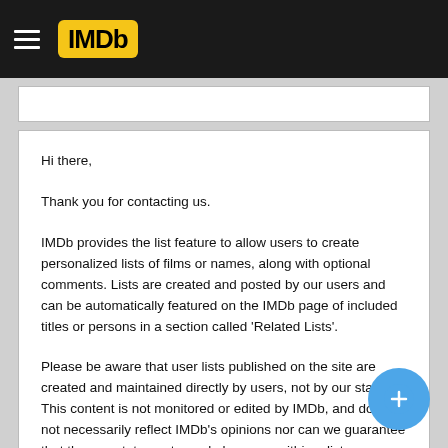IMDb
Hi there,

Thank you for contacting us.

IMDb provides the list feature to allow users to create personalized lists of films or names, along with optional comments. Lists are created and posted by our users and can be automatically featured on the IMDb page of included titles or persons in a section called 'Related Lists'.

Please be aware that user lists published on the site are created and maintained directly by users, not by our staff. This content is not monitored or edited by IMDb, and does not necessarily reflect IMDb's opinions nor can we guarantee that the any statements made by users within a list are factual. As long as these lists are not determined to be in